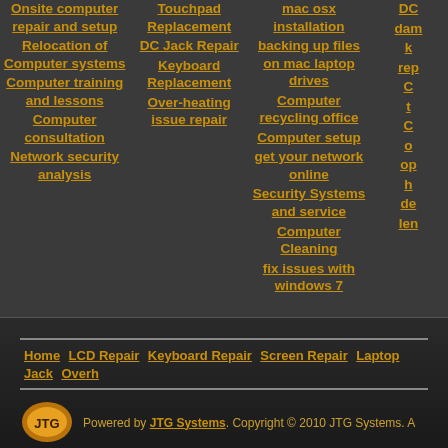Onsite computer repair and setup
Relocation of Computer systems
Computer training and lessons
Computer consultation
Network security analysis
Touchpad Replacement
DC Jack Repair
Keyboard Replacement
Over-heating issue repair
mac osx installation
backing up files on mac laptop drives
Computer recycling office
Computer setup
get your network online
Security Systems and service
Computer Cleaning
fix issues with windows 7
Home | LCD Repair | Keyboard Repair | Screen Repair | Laptop Jack | Overh... | Powered by JTG Systems. Copyright © 2010 JTG Systems.